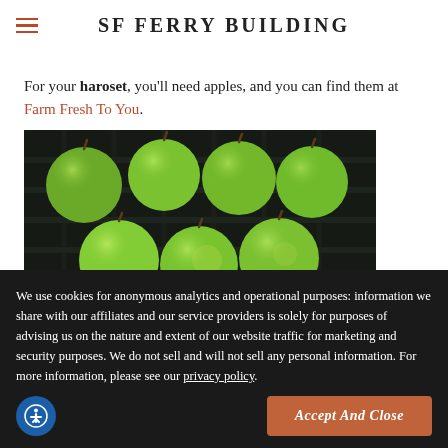SF FERRY BUILDING
For your haroset, you'll need apples, and you can find them at Farm Fresh To You.
[Figure (photo): Wicker basket filled with green apples viewed from above]
We use cookies for anonymous analytics and operational purposes: information we share with our affiliates and our service providers is solely for purposes of advising us on the nature and extent of our website traffic for marketing and security purposes. We do not sell and will not sell any personal information. For more information, please see our privacy policy.